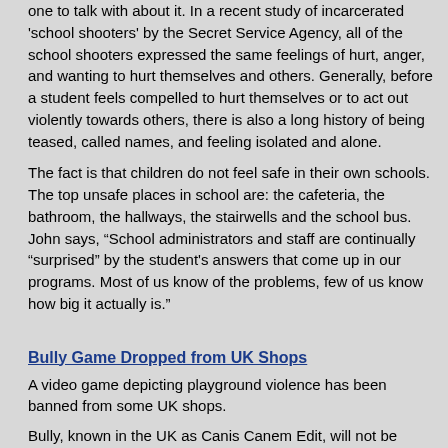one to talk with about it. In a recent study of incarcerated 'school shooters' by the Secret Service Agency, all of the school shooters expressed the same feelings of hurt, anger, and wanting to hurt themselves and others. Generally, before a student feels compelled to hurt themselves or to act out violently towards others, there is also a long history of being teased, called names, and feeling isolated and alone.
The fact is that children do not feel safe in their own schools. The top unsafe places in school are: the cafeteria, the bathroom, the hallways, the stairwells and the school bus. John says, “School administrators and staff are continually “surprised” by the student's answers that come up in our programs. Most of us know of the problems, few of us know how big it actually is.”
Bully Game Dropped from UK Shops
A video game depicting playground violence has been banned from some UK shops.
Bully, known in the UK as Canis Canem Edit, will not be stocked in Currys or PC World.
A spokesman for parent company DSG International said the videogame was not in keeping with its "family-friendly image".
Questions have been asked about the game in the House of Commons and children's charities have condemned it.